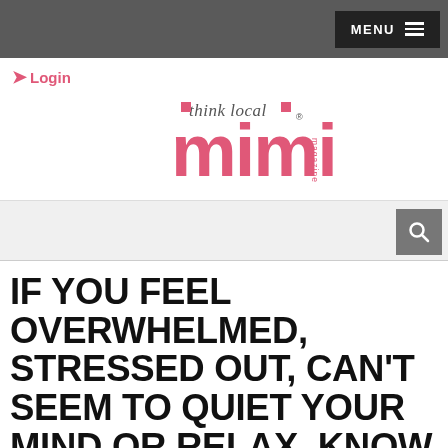MENU
Login
[Figure (logo): Mimi Magazine logo — pink bold 'mimi' text with 'think local' script above and pink square brackets, 'magazine' in vertical text on right side]
IF YOU FEEL OVERWHELMED, STRESSED OUT, CAN'T SEEM TO QUIET YOUR MIND OR RELAX, KNOW THERE IS A NATURAL